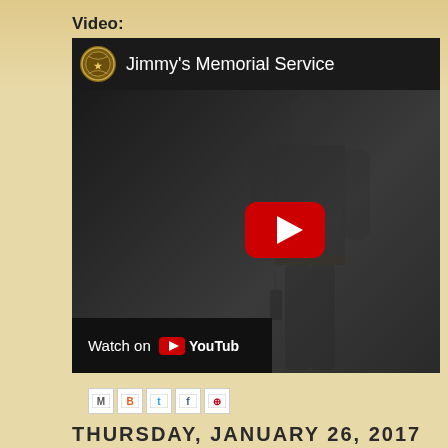Video:
[Figure (screenshot): YouTube video thumbnail showing a dark silhouette of a person standing, with a YouTube play button overlay. The video title reads 'Jimmy's Memorial Service' with a channel icon showing a circular badge/seal. Bottom left shows 'Watch on YouTube' bar.]
[Figure (other): Row of social sharing icons: Email (M), Blogger (B), Twitter (t), Facebook (f), Pinterest (P)]
THURSDAY, JANUARY 26, 2017